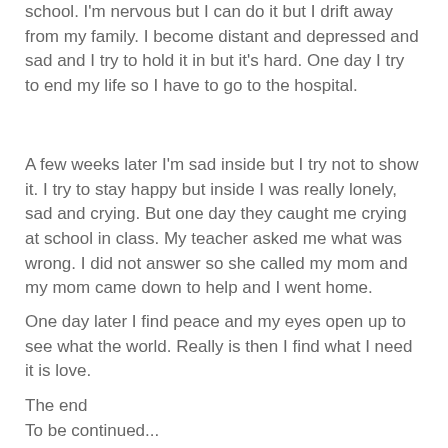school. I'm nervous but I can do it but I drift away from my family. I become distant and depressed and sad and I try to hold it in but it's hard. One day I try to end my life so I have to go to the hospital.
A few weeks later I'm sad inside but I try not to show it. I try to stay happy but inside I was really lonely, sad and crying. But one day they caught me crying at school in class. My teacher asked me what was wrong. I did not answer so she called my mom and my mom came down to help and I went home.
One day later I find peace and my eyes open up to see what the world. Really is then I find what I need it is love.
The end
To be continued...